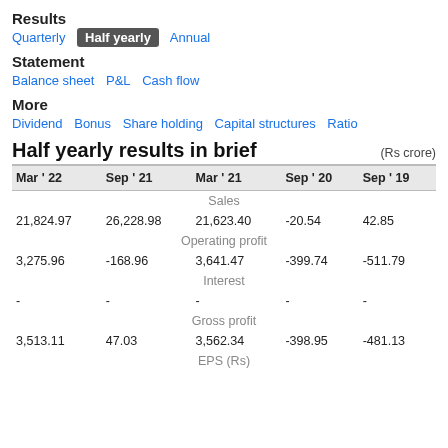Results
Quarterly  Half yearly  Annual
Statement
Balance sheet  P&L  Cash flow
More
Dividend  Bonus  Share holding  Capital structures  Ratio
Half yearly results in brief  (Rs crore)
| Mar ' 22 | Sep ' 21 | Mar ' 21 | Sep ' 20 | Sep ' 19 |
| --- | --- | --- | --- | --- |
| Sales |  |  |  |  |
| 21,824.97 | 26,228.98 | 21,623.40 | -20.54 | 42.85 |
| Operating profit |  |  |  |  |
| 3,275.96 | -168.96 | 3,641.47 | -399.74 | -511.79 |
| Interest |  |  |  |  |
| - | - | - | - | - |
| Gross profit |  |  |  |  |
| 3,513.11 | 47.03 | 3,562.34 | -398.95 | -481.13 |
| EPS (Rs) |  |  |  |  |